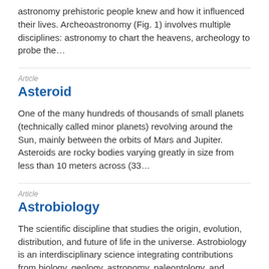astronomy prehistoric people knew and how it influenced their lives. Archeoastronomy (Fig. 1) involves multiple disciplines: astronomy to chart the heavens, archeology to probe the…
Article
Asteroid
One of the many hundreds of thousands of small planets (technically called minor planets) revolving around the Sun, mainly between the orbits of Mars and Jupiter. Asteroids are rocky bodies varying greatly in size from less than 10 meters across (33…
Article
Astrobiology
The scientific discipline that studies the origin, evolution, distribution, and future of life in the universe. Astrobiology is an interdisciplinary science integrating contributions from biology, geology, astronomy, paleontology, and planetary…